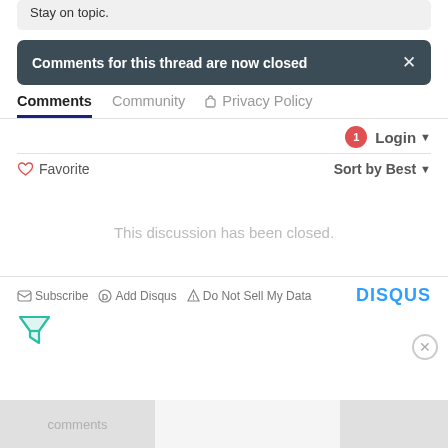Stay on topic.
Comments for this thread are now closed
Comments   Community   Privacy Policy
Login
Favorite   Sort by Best
This discussion has been closed.
Subscribe   Add Disqus   Do Not Sell My Data   DISQUS